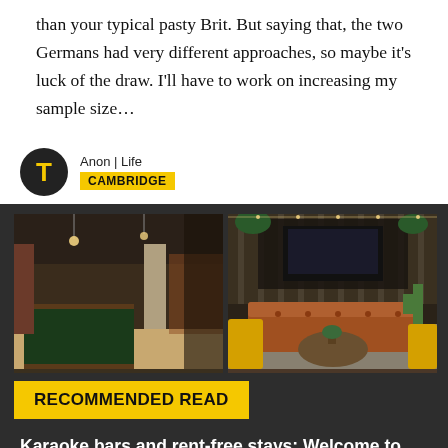than your typical pasty Brit. But saying that, the two Germans had very different approaches, so maybe it's luck of the draw. I'll have to work on increasing my sample size...
Anon | Life
CAMBRIDGE
[Figure (photo): Two interior photos side by side: left shows a pool table and bar area with exposed brick and pendant lights; right shows a lounge with a leather Chesterfield sofa, yellow chairs, plants and a TV on a shelving unit.]
RECOMMENDED READ
Karaoke bars and rent-free stays: Welcome to the UK's most *stunning* student